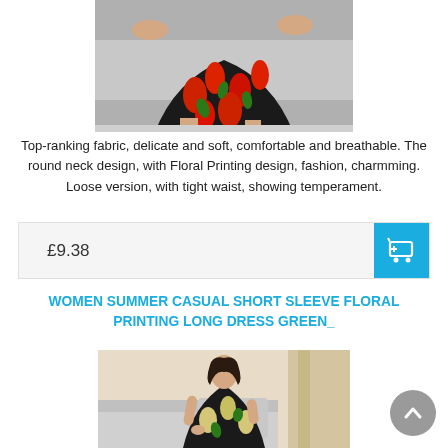[Figure (photo): Woman wearing a black floral dress with red tulip print, sitting on a grey sofa. Only the lower half of the body is visible showing the dress and sandals.]
Top-ranking fabric, delicate and soft, comfortable and breathable. The round neck design, with Floral Printing design, fashion, charmming. Loose version, with tight waist, showing temperament.
£9.38
WOMEN SUMMER CASUAL SHORT SLEEVE FLORAL PRINTING LONG DRESS GREEN_
[Figure (photo): Young woman wearing a black floral dress with green and cream floral print, sitting on a grey sofa in a bright room with beige curtains.]